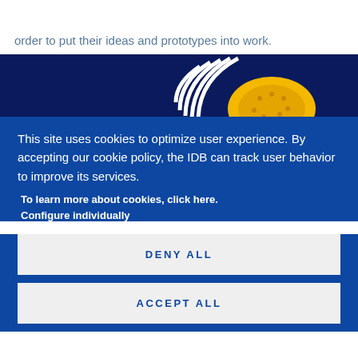order to put their ideas and prototypes into work.
[Figure (screenshot): IDB website header image strip showing curved white lines logo and yellow circular element on dark navy background]
This site uses cookies to optimize user experience. By accepting our cookie policy, the IDB can track user behavior to improve its services.
To learn more about cookies, click here.
Configure individually
DENY ALL
ACCEPT ALL